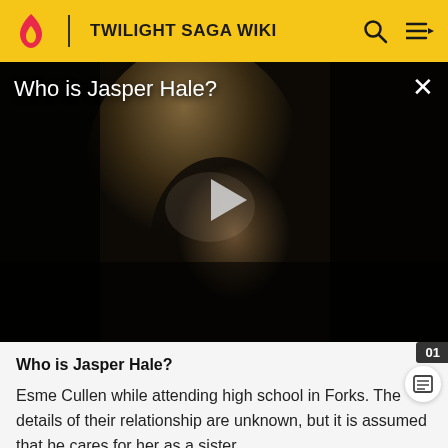TWILIGHT SAGA WIKI
[Figure (photo): Video thumbnail showing a pale young man with wavy blonde hair in a dark setting. Title overlay reads 'Who is Jasper Hale?' with a play button in the center and a close (X) button in the top right corner.]
Who is Jasper Hale?
Esme Cullen while attending high school in Forks. The details of their relationship are unknown, but it is assumed that he cares for her as a sister.